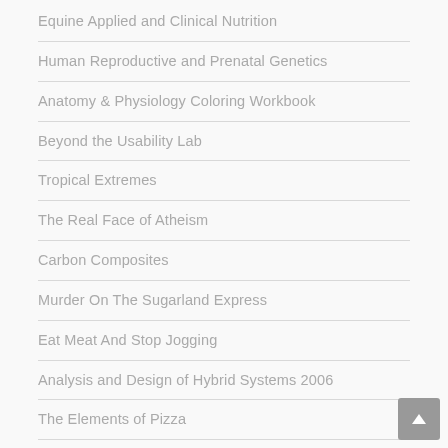Equine Applied and Clinical Nutrition
Human Reproductive and Prenatal Genetics
Anatomy & Physiology Coloring Workbook
Beyond the Usability Lab
Tropical Extremes
The Real Face of Atheism
Carbon Composites
Murder On The Sugarland Express
Eat Meat And Stop Jogging
Analysis and Design of Hybrid Systems 2006
The Elements of Pizza
The Buffalo Creek Disaster